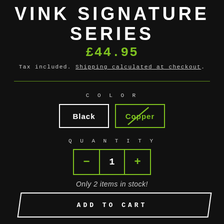VINK SIGNATURE SERIES
£44.95
Tax included. Shipping calculated at checkout.
COLOR
Black
Copper
QUANTITY
1
Only 2 items in stock!
ADD TO CART